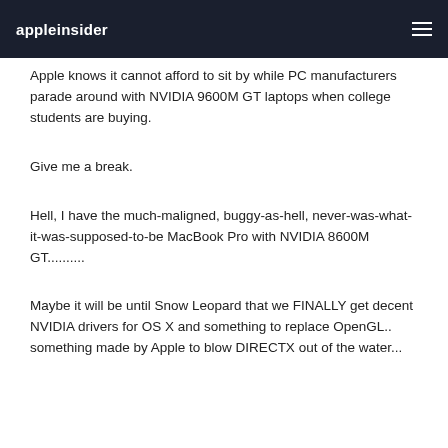appleinsider
Apple knows it cannot afford to sit by while PC manufacturers parade around with NVIDIA 9600M GT laptops when college students are buying.
Give me a break.
Hell, I have the much-maligned, buggy-as-hell, never-was-what-it-was-supposed-to-be MacBook Pro with NVIDIA 8600M GT..........
Maybe it will be until Snow Leopard that we FINALLY get decent NVIDIA drivers for OS X and something to replace OpenGL.. something made by Apple to blow DIRECTX out of the water...